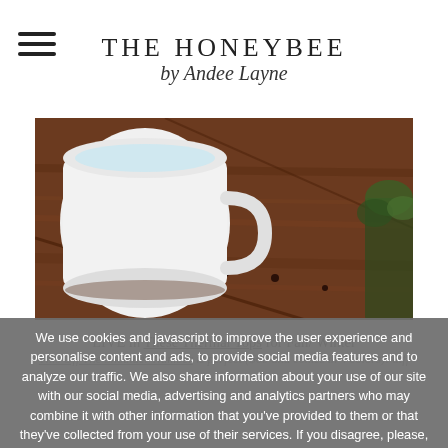THE HONEYBEE by Andee Layne
[Figure (photo): A white coffee mug sitting on a dark wooden table with plants visible in the background]
LIVE in These Thermal Tops for Fall/ Winter
This Off The Shoulder Number is perfect ($60 and comes in 4 colors)! diff
We use cookies and javascript to improve the user experience and personalise content and ads, to provide social media features and to analyze our traffic. We also share information about your use of our site with our social media, advertising and analytics partners who may combine it with other information that you've provided to them or that they've collected from your use of their services. If you disagree, please, press BACK on your browser.
Ok